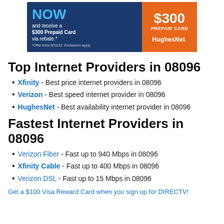[Figure (advertisement): HughesNet advertisement banner with dark blue background. Left side shows 'NOW' in blue text, 'and receive a $300 Prepaid Card via rebate.*' and '*Offer ends 8/31/22. Exclusions apply.' Right orange box shows '$300 PREPAID CARD' and 'HughesNet.' logo.]
Top Internet Providers in 08096
Xfinity - Best price internet providers in 08096
Verizon - Best speed internet provider in 08096
HughesNet - Best availability internet provider in 08096
Fastest Internet Providers in 08096
Verizon Fiber - Fast up to 940 Mbps in 08096
Xfinity Cable - Fast up to 400 Mbps in 08096
Verizon DSL - Fast up to 15 Mbps in 08096
Get a $100 Visa Reward Card when you sign up for DIRECTV!